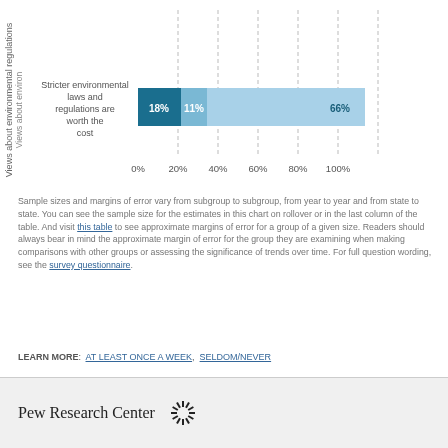[Figure (stacked-bar-chart): Views about environmental laws and regulations]
Sample sizes and margins of error vary from subgroup to subgroup, from year to year and from state to state. You can see the sample size for the estimates in this chart on rollover or in the last column of the table. And visit this table to see approximate margins of error for a group of a given size. Readers should always bear in mind the approximate margin of error for the group they are examining when making comparisons with other groups or assessing the significance of trends over time. For full question wording, see the survey questionnaire.
LEARN MORE: AT LEAST ONCE A WEEK, SELDOM/NEVER
Pew Research Center